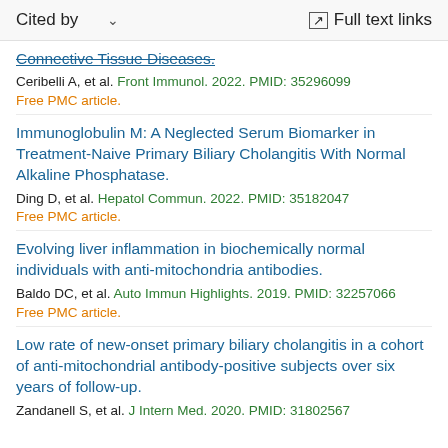Cited by    ∨    Full text links
Connective Tissue Diseases.
Ceribelli A, et al. Front Immunol. 2022. PMID: 35296099
Free PMC article.
Immunoglobulin M: A Neglected Serum Biomarker in Treatment-Naive Primary Biliary Cholangitis With Normal Alkaline Phosphatase.
Ding D, et al. Hepatol Commun. 2022. PMID: 35182047
Free PMC article.
Evolving liver inflammation in biochemically normal individuals with anti-mitochondria antibodies.
Baldo DC, et al. Auto Immun Highlights. 2019. PMID: 32257066
Free PMC article.
Low rate of new-onset primary biliary cholangitis in a cohort of anti-mitochondrial antibody-positive subjects over six years of follow-up.
Zandanell S, et al. J Intern Med. 2020. PMID: 31802567